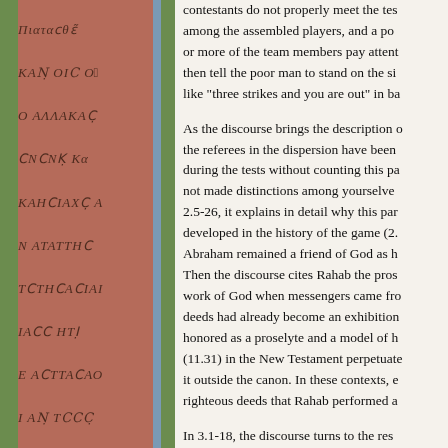[Figure (photo): Left panel showing an ancient manuscript page with handwritten text in reddish-brown ink on a terracotta/salmon colored background, with green and blue vertical strips on the edges.]
contestants do not properly meet the tests among the assembled players, and a poor man or more of the team members pay attention then tell the poor man to stand on the side like "three strikes and you are out" in ba

As the discourse brings the description of the referees in the dispersion have been during the tests without counting this pa not made distinctions among yourselves 2.5-26, it explains in detail why this par developed in the history of the game (2. Abraham remained a friend of God as h Then the discourse cites Rahab the pros work of God when messengers came fro deeds had already become an exhibition honored as a proselyte and a model of h (11.31) in the New Testament perpetuate it outside the canon. In these contexts, e righteous deeds that Rahab performed as

In 3.1-18, the discourse turns to the resp game. The teachers are judged by even a (3.1). Everyone makes mistakes, but a p perfect man who has learned to bridle a skillfully and safely through strong wi